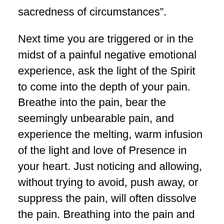sacredness of circumstances”.
Next time you are triggered or in the midst of a painful negative emotional experience, ask the light of the Spirit to come into the depth of your pain. Breathe into the pain, bear the seemingly unbearable pain, and experience the melting, warm infusion of the light and love of Presence in your heart. Just noticing and allowing, without trying to avoid, push away, or suppress the pain, will often dissolve the pain. Breathing into the pain and calling on the Light of the Spirit to enter in the midst of darkness will transform or transmute the pain. The more you remember to meet the pain and bring the light to the darkness, the easier it is to transform your life and the less often you will experience the negative situations in the first place. Once you awaken to the truth of your being and realize you are one with the vast, spacious presence of Love, you will no longer need